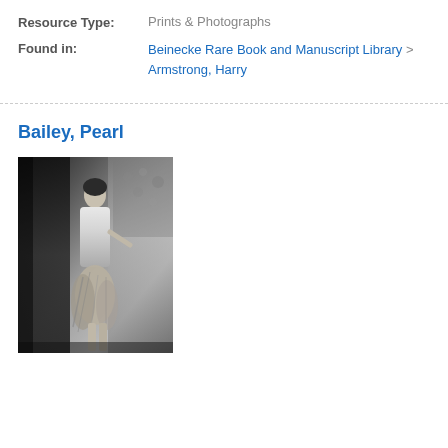Resource Type: Prints & Photographs
Found in: Beinecke Rare Book and Manuscript Library > Armstrong, Harry
Bailey, Pearl
[Figure (photo): Black and white photograph of Pearl Bailey, a woman standing in a white dress with feathered/fringe accessories, posed against a dark background.]